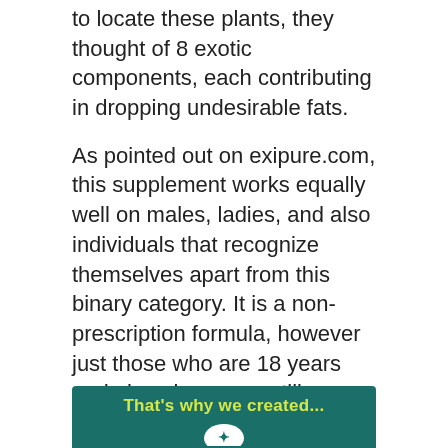to locate these plants, they thought of 8 exotic components, each contributing in dropping undesirable fats.
As pointed out on exipure.com, this supplement works equally well on males, ladies, and also individuals that recognize themselves apart from this binary category. It is a non-prescription formula, however just those who are 18 years and also above can utilize them. Exipure comes in pill form, and also there are 30 of them in each bottle. This set bottle is to be eaten in one month, ideally, and the very best results are observed within 2 to 3 months.
[Figure (infographic): Dark teal banner with yellow bold text reading 'That's why we created...' and a white icon/logo at the bottom center]